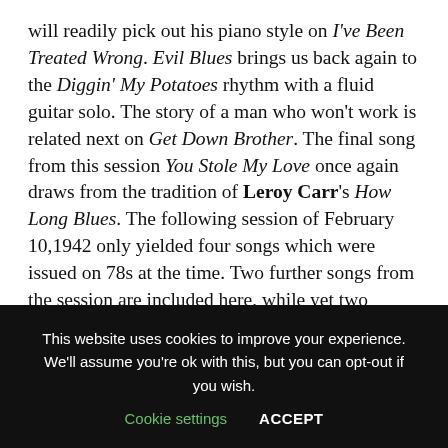will readily pick out his piano style on I've Been Treated Wrong. Evil Blues brings us back again to the Diggin' My Potatoes rhythm with a fluid guitar solo. The story of a man who won't work is related next on Get Down Brother. The final song from this session You Stole My Love once again draws from the tradition of Leroy Carr's How Long Blues. The following session of February 10,1942 only yielded four songs which were issued on 78s at the time. Two further songs from the session are included here, while yet two others remain unissued (Cry On Baby and Dark Road Blues). Roosevelt Sykes takes over on piano for this date and immediately
This website uses cookies to improve your experience. We'll assume you're ok with this, but you can opt-out if you wish. Cookie settings ACCEPT